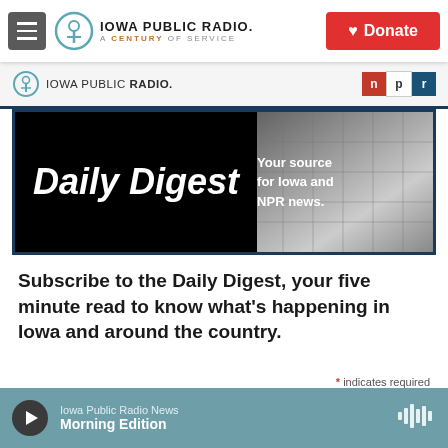Iowa Public Radio. A Century of Service | Donate
[Figure (logo): Iowa Public Radio logo with circular icon and text 'IOWA PUBLIC RADIO. A CENTURY OF SERVICE' and NPR logo boxes]
[Figure (illustration): Daily Digest banner: black background with bold italic white text 'Daily Digest' and tagline 'Your source for Iowa and NPR news.' with blurred background image]
Subscribe to the Daily Digest, your five minute read to know what's happening in Iowa and around the country.
* indicates required
Email Address *
Iowa Public Radio News | Morning Edition